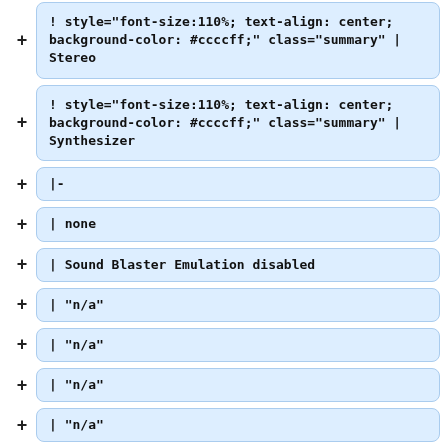! style="font-size:110%; text-align: center; background-color: #ccccff;" class="summary" | Stereo
! style="font-size:110%; text-align: center; background-color: #ccccff;" class="summary" | Synthesizer
|-
| none
| Sound Blaster Emulation disabled
| "n/a"
| "n/a"
| "n/a"
| "n/a"
|-